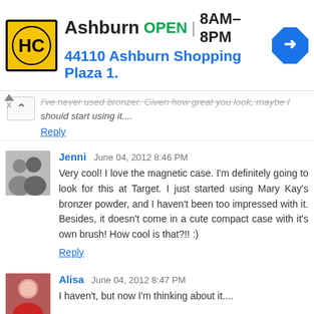[Figure (other): Advertisement banner for Hairclub (HC) in Ashburn: OPEN 8AM-8PM, address 44110 Ashburn Shopping Plaza 1., with a yellow HC logo and blue navigation arrow icon]
I've never used bronzer. Given how great you look, maybe I should start using it....
Reply
Jenni June 04, 2012 8:46 PM
Very cool! I love the magnetic case. I'm definitely going to look for this at Target. I just started using Mary Kay's bronzer powder, and I haven't been too impressed with it. Besides, it doesn't come in a cute compact case with it's own brush! How cool is that?!! :)
Reply
Alisa June 04, 2012 8:47 PM
I haven't, but now I'm thinking about it....